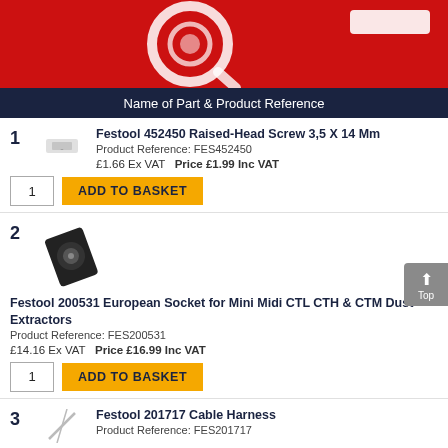[Figure (illustration): Red banner header with magnifying glass over gear icon, e-commerce site branding]
Name of Part & Product Reference
1. Festool 452450 Raised-Head Screw 3,5 X 14 Mm
Product Reference: FES452450
£1.66 Ex VAT  Price £1.99 Inc VAT
2. Festool 200531 European Socket for Mini Midi CTL CTH & CTM Dust Extractors
Product Reference: FES200531
£14.16 Ex VAT  Price £16.99 Inc VAT
3. Festool 201717 Cable Harness
Product Reference: FES201717